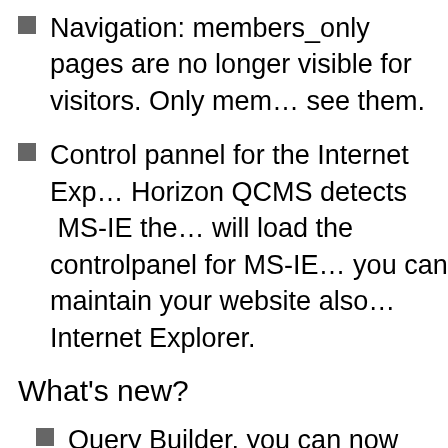Navigation: members_only pages are no longer visible for visitors. Only members can see them.
Control pannel for the Internet Explorer: Horizon QCMS detects MS-IE then it will load the controlpanel for MS-IE so you can maintain your website also with Internet Explorer.
What's new?
Query Builder, you can now create customized queries for all your nee